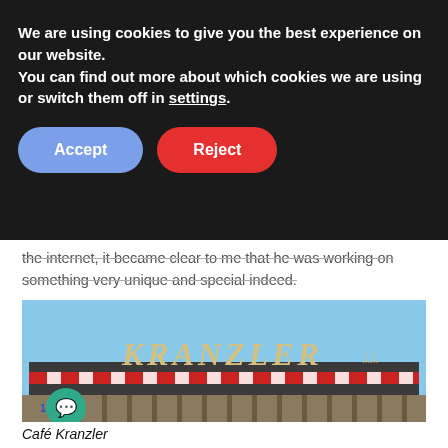We are using cookies to give you the best experience on our website.
You can find out more about which cookies we are using or switch them off in settings.
Accept | Reject
the internet, it became clear to me that he was working on something very unique and special indeed.
[Figure (photo): Photograph of the top of Café Kranzler building showing the circular rooftop structure with red and white striped awning and the large 'KRANZLER' sign, against a blue sky.]
Café Kranzler